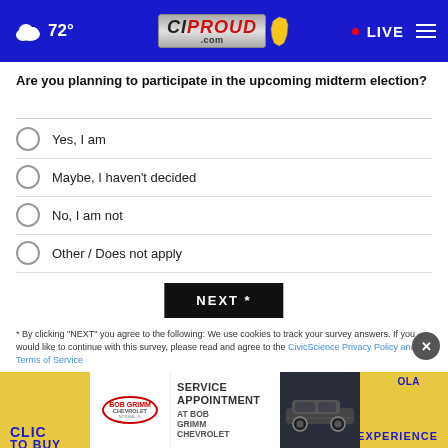CIProud.com – 72° LIVE
Are you planning to participate in the upcoming midterm election?
Yes, I am
Maybe, I haven't decided
No, I am not
Other / Does not apply
NEXT *
* By clicking "NEXT" you agree to the following: We use cookies to track your survey answers. If you would like to continue with this survey, please read and agree to the CivicScience Privacy Policy and Terms of Service
[Figure (screenshot): Advertisement for Bob Grimm Chevrolet – Service Appointment. Shows Bob Grimm Chevrolet logo, service appointment text, and a Chevrolet SUV.]